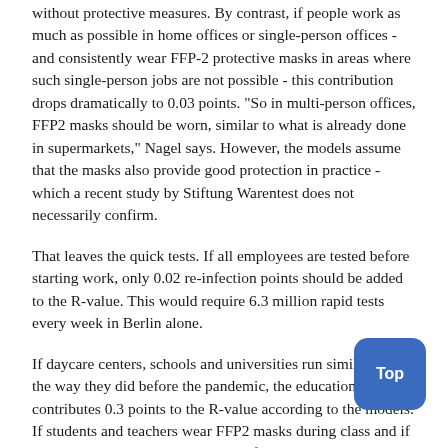without protective measures. By contrast, if people work as much as possible in home offices or single-person offices - and consistently wear FFP-2 protective masks in areas where such single-person jobs are not possible - this contribution drops dramatically to 0.03 points. "So in multi-person offices, FFP2 masks should be worn, similar to what is already done in supermarkets," Nagel says. However, the models assume that the masks also provide good protection in practice - which a recent study by Stiftung Warentest does not necessarily confirm.
That leaves the quick tests. If all employees are tested before starting work, only 0.02 re-infection points should be added to the R-value. This would require 6.3 million rapid tests every week in Berlin alone.
If daycare centers, schools and universities run similarly to the way they did before the pandemic, the education sector contributes 0.3 points to the R-value according to the models. If students and teachers wear FFP2 masks during class and if alternate teaching is consistently enforced, this value drops below 0.01 points. A rapid test for all students and teachers before each day of instruction has a similar effect. This would require Berlin to provide 2.4 million tests each week.
Retailers contribute 0.1 reinfection points without protection